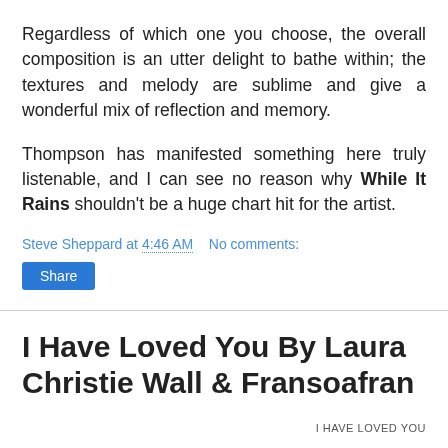Regardless of which one you choose, the overall composition is an utter delight to bathe within; the textures and melody are sublime and give a wonderful mix of reflection and memory.
Thompson has manifested something here truly listenable, and I can see no reason why While It Rains shouldn't be a huge chart hit for the artist.
Steve Sheppard at 4:46 AM   No comments:
Share
I Have Loved You By Laura Christie Wall & Fransoafran
I HAVE LOVED YOU